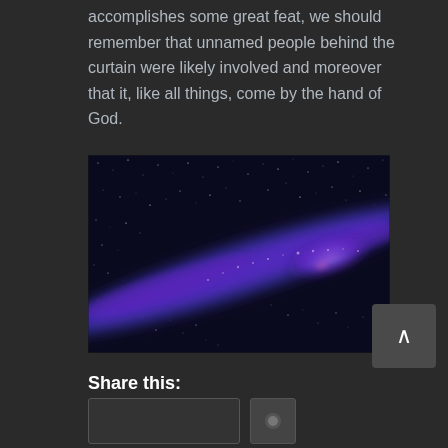accomplishes some great feat, we should remember that unnamed people behind the curtain were likely involved and moreover that it, like all things, come by the hand of God.
[Figure (photo): Photograph of the Milky Way galaxy with purple and blue tones against a dark starry night sky]
Share this: